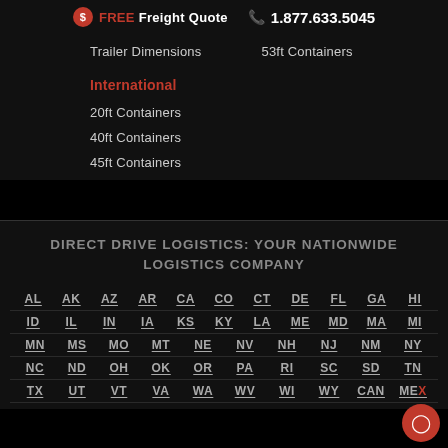FREE Freight Quote  1.877.633.5045
Trailer Dimensions
53ft Containers
International
20ft Containers
40ft Containers
45ft Containers
DIRECT DRIVE LOGISTICS: YOUR NATIONWIDE LOGISTICS COMPANY
AL AK AZ AR CA CO CT DE FL GA HI ID IL IN IA KS KY LA ME MD MA MI MN MS MO MT NE NV NH NJ NM NY NC ND OH OK OR PA RI SC SD TN TX UT VT VA WA WV WI WY CAN MEX